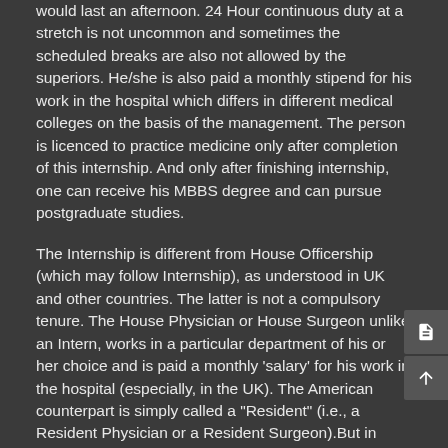would last an afternoon. 24 Hour continuous duty at a stretch is not uncommon and sometimes the scheduled breaks are also not allowed by the superiors. He/she is also paid a monthly stipend for his work in the hospital which differs in different medical colleges on the basis of the management. The person is licenced to practice medicine only after completion of this internship. And only after finishing internship, one can receive his MBBS degree and can pursue postgraduate studies.
The Internship is different from House Officership (which may follow Internship), as understood in UK and other countries. The latter is not a compulsory tenure. The House Physician or House Surgeon unlike an Intern, works in a particular department of his or her choice and is paid a monthly 'salary' for his work in the hospital (especially, in the UK). The American counterpart is simply called a "Resident" (i.e., a Resident Physician or a Resident Surgeon).But in India nevertheless, the Internship or the House Surgeoncy or the House Officership - all are considered to be one-&-the-same. Besides, there is no such term as a "House Physician". This is because, in India, the Doctor who is undergoing higher specialty training following Internship is called a "Post-Graduate student" (i.e., a Medicine PG student or a Surgery PG student).
Responsibility of an intern: